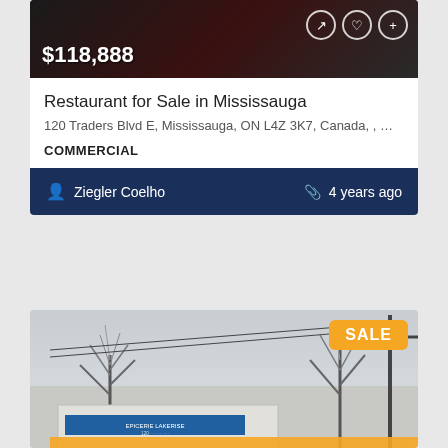[Figure (photo): Property listing photo showing dark interior or exterior with red accents, price overlay $118,888 with action icons]
Restaurant for Sale in Mississauga
120 Traders Blvd E, Mississauga, ON L4Z 3K7, Canada, , …
COMMERCIAL
Ziegler Coelho   4 years ago
[Figure (photo): Street-level photo of a commercial building with SALE badge, bare winter trees and utility pole in background, orange bar at bottom]